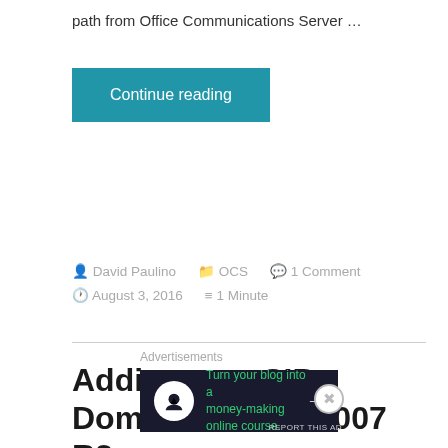path from Office Communications Server …
Continue reading
David Paulino  OCS  1 Comment  August 3, 2016  1 Minute
Adding new SIP Domain to OCS 2007 R2
Here is a step by step tutorial how to add a new SIP
Advertisements
Turn your blog into a money-making online course.